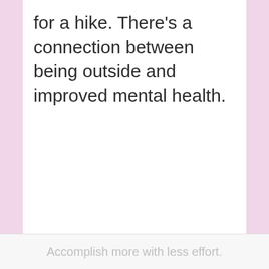for a hike. There’s a connection between being outside and improved mental health.
Accomplish more with less effort.